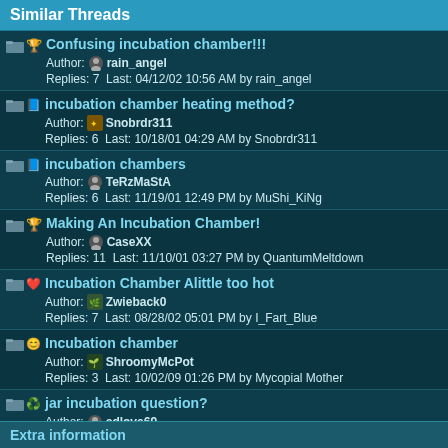Similar Threads
Confusing incubation chamber!!!
Author: rain_angel
Replies: 7  Last: 04/12/02 10:56 AM by rain_angel
incubation chamber heating method?
Author: Snobrdr311
Replies: 6  Last: 10/18/01 04:29 AM by Snobrdr311
incubation chambers
Author: TeRzMaStA
Replies: 6  Last: 11/19/01 12:49 PM by MuShi_KiNg
Making An Incubation Chamber!
Author: CaseXX
Replies: 11  Last: 11/10/01 03:27 PM by QuantumMeltdown
Incubation Chamber Alittle too hot
Author: Zwieback0
Replies: 7  Last: 08/28/02 05:01 PM by I_Fart_Blue
Incubation chamber
Author: ShroomyMcPot
Replies: 3  Last: 10/02/09 01:26 PM by Mycopial Mother
jar incubation question?
Author: cdlove69
Replies: 2  Last: 04/19/02 08:00 PM by kb73
incubation chamber, heated water?
Author: thegoldenteacher
Replies: 8  Last: 07/30/01 02:51 AM by fruers
Extra information